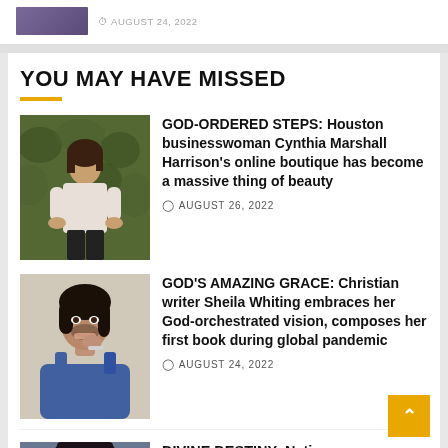[Figure (photo): Top strip showing partial photo of a person and date text AUGUST 24, 2022]
YOU MAY HAVE MISSED
[Figure (photo): Photo of Houston businesswoman Cynthia Marshall Harrison standing outdoors against green hedge background, wearing white blouse and black pants]
GOD-ORDERED STEPS: Houston businesswoman Cynthia Marshall Harrison's online boutique has become a massive thing of beauty
AUGUST 26, 2022
[Figure (photo): Portrait photo of Christian writer Sheila Whiting, woman with dark curly hair, wearing blue outfit, smiling with hand near chin]
GOD'S AMAZING GRACE: Christian writer Sheila Whiting embraces her God-orchestrated vision, composes her first book during global pandemic
AUGUST 24, 2022
[Figure (photo): Partial photo of a woman, bottom of page, cut off]
DIVINE DESTINY: Native